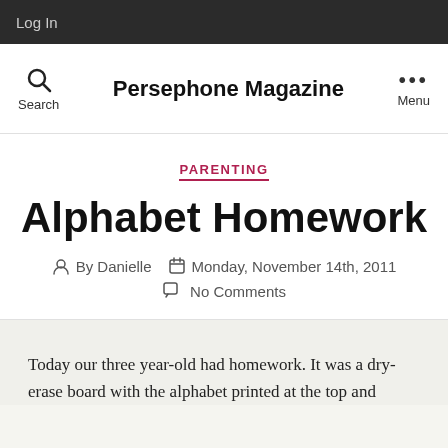Log In
Persephone Magazine
PARENTING
Alphabet Homework
By Danielle   Monday, November 14th, 2011   No Comments
Today our three year-old had homework. It was a dry-erase board with the alphabet printed at the top and